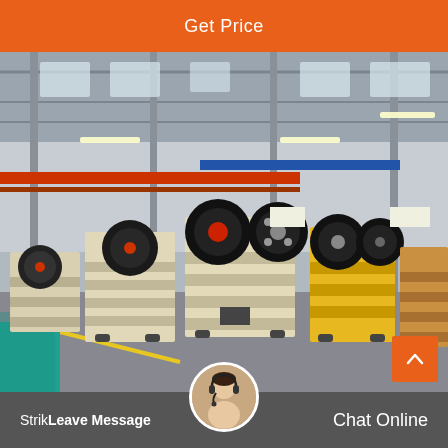Get Price
[Figure (photo): Industrial factory floor with multiple jaw crusher machines in a large warehouse. Machines are painted cream/white and yellow with large black flywheels, arranged in rows on grey concrete floor. Red overhead crane beams visible, steel roof structure, blue accent girder.]
StrikLeave Message   Chat Online